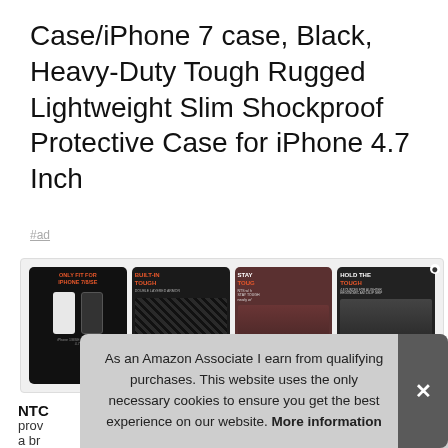Case/iPhone 7 case, Black, Heavy-Duty Tough Rugged Lightweight Slim Shockproof Protective Case for iPhone 4.7 Inch
#ad
[Figure (photo): Row of four product images for iPhone case: 1) Black background with white and black phones labeled 'ONLY FIT FOR IPHONE 7/8/SE', 2) Carbon fiber texture phone case labeled 'BUILT-IN TOUGH', 3) Athlete doing push-ups labeled 'STAY TOUGH', 4) Person with headphones labeled 'HOLD THE TOUGH']
NTC
prov
a br
As an Amazon Associate I earn from qualifying purchases. This website uses the only necessary cookies to ensure you get the best experience on our website. More information